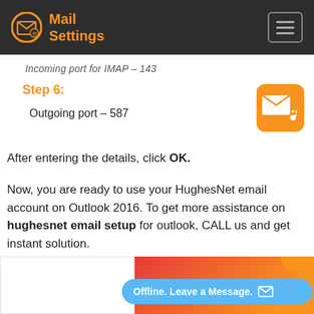Mail Settings
Incoming port for IMAP – 143
Step 6:
Outgoing port – 587
After entering the details, click OK.
Now, you are ready to use your HughesNet email account on Outlook 2016. To get more assistance on hughesnet email setup for outlook, CALL us and get instant solution.
[Figure (screenshot): Bottom section with chat widget showing 'Offline. Leave a Message.' and a partial banner image below]